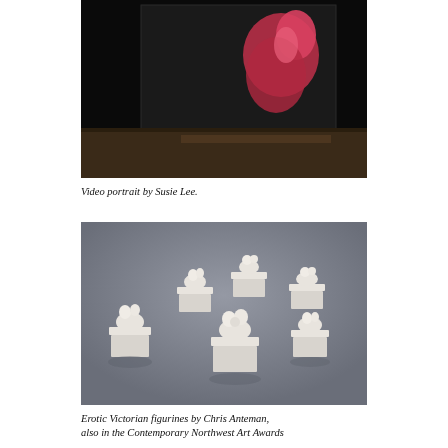[Figure (photo): Dark gallery space with projected video portrait showing a figure in pink/red clothing against a dark background, displayed on a screen or wall.]
Video portrait by Susie Lee.
[Figure (photo): Gallery installation of white ceramic erotic Victorian figurines mounted on small shelves on a dark grey wall, approximately eight figurine groups arranged in a scattered pattern.]
Erotic Victorian figurines by Chris Anteman, also in the Contemporary Northwest Art Awards